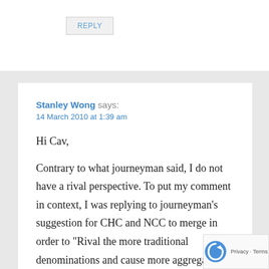REPLY
Stanley Wong says:
14 March 2010 at 1:39 am
Hi Cav,

Contrary to what journeyman said, I do not have a rival perspective. To put my comment in context, I was replying to journeyman’s suggestion for CHC and NCC to merge in order to “Rival the more traditional denominations and cause more aggregation and consolidation?” b... turning it around, meaning that CHC and...